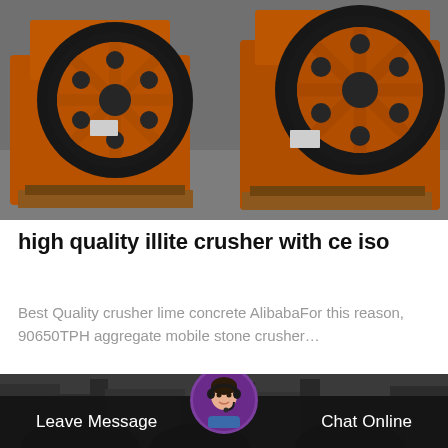[Figure (photo): Orange industrial jaw crushers with large black flywheel discs, multiple units stored in a factory or outdoor storage area]
high quality illite crusher with ce iso
Best Quality crusher lime concrete AlibabaFor this reason, 90650TPH aggregate mobile stone crusher…
[Figure (photo): Industrial machinery equipment in a factory setting, partially visible at the bottom of the page]
Leave Message
Chat Online